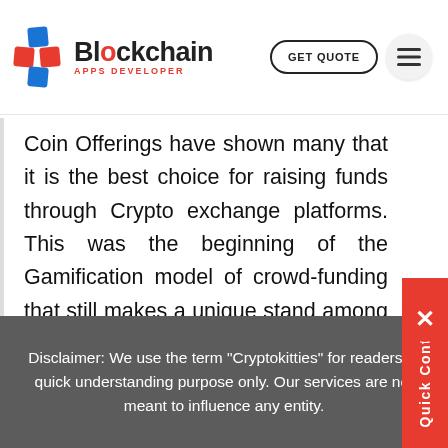Blockchain Apps Developer — GET QUOTE
Coin Offerings have shown many that it is the best choice for raising funds through Crypto exchange platforms. This was the beginning of the Gamification model of crowd-funding that still makes a unique stand among Crypto users.
CryptoKitties has inspired the simple gamer living in a Decentralized State by its success
Disclaimer: We use the term "Cryptokitties" for readers to quick understanding purpose only. Our services are not meant to influence any entity.